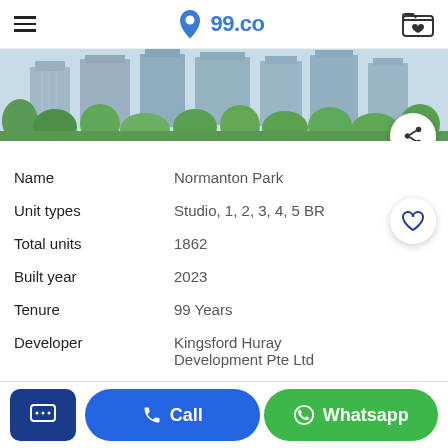99.co
[Figure (photo): Aerial/exterior photo of Normanton Park condominium development with high-rise buildings and green trees]
| Field | Value |
| --- | --- |
| Name | Normanton Park |
| Unit types | Studio, 1, 2, 3, 4, 5 BR |
| Total units | 1862 |
| Built year | 2023 |
| Tenure | 99 Years |
| Developer | Kingsford Huray Development Pte Ltd |
| Neighbourhood | Queenstown |
Call | Whatsapp